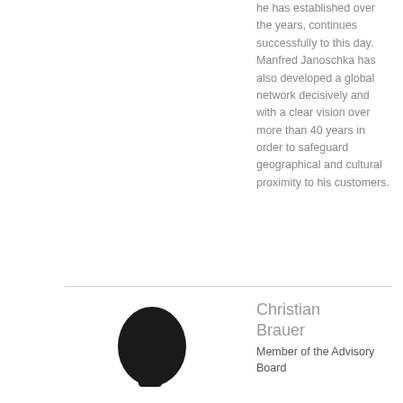he has established over the years, continues successfully to this day. Manfred Janoschka has also developed a global network decisively and with a clear vision over more than 40 years in order to safeguard geographical and cultural proximity to his customers.
[Figure (photo): Silhouette portrait photo placeholder of Christian Brauer]
Christian Brauer
Member of the Advisory Board